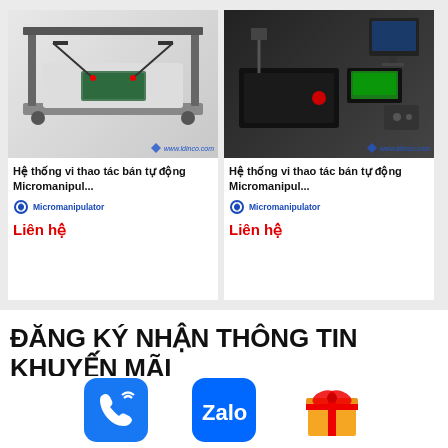[Figure (photo): Micromanipulator semi-automatic probe station system, top-down view on a white background with ldinco.com watermark]
Hệ thống vi thao tác bán tự động Micromanipul...
Micromanipulator
Liên hệ
[Figure (photo): Micromanipulator semi-automatic probe station system with dark chassis and monitor, ldinco.com watermark]
Hệ thống vi thao tác bán tự động Micromanipul...
Micromanipulator
Liên hệ
ĐĂNG KÝ NHẬN THÔNG TIN KHUYẾN MÃI
Ldinco luôn có những khuyến mãi hấp dẫn diễn ra trong thời...
[Figure (illustration): Phone/call icon with blue rounded rectangle background]
[Figure (illustration): Zalo icon with blue rounded rectangle background]
[Figure (illustration): Gift box emoji icon]